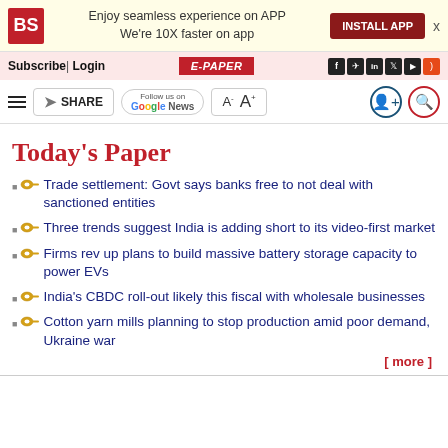BS | Enjoy seamless experience on APP | We're 10X faster on app | INSTALL APP
Subscribe | Login | E-PAPER
SHARE | Follow us on Google News | A- A+ | user icon | search icon
Today's Paper
Trade settlement: Govt says banks free to not deal with sanctioned entities
Three trends suggest India is adding short to its video-first market
Firms rev up plans to build massive battery storage capacity to power EVs
India's CBDC roll-out likely this fiscal with wholesale businesses
Cotton yarn mills planning to stop production amid poor demand, Ukraine war
[ more ]